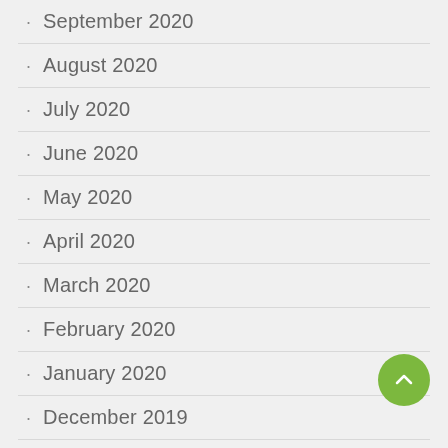September 2020
August 2020
July 2020
June 2020
May 2020
April 2020
March 2020
February 2020
January 2020
December 2019